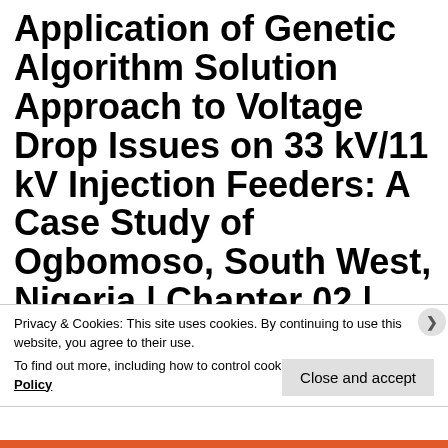Application of Genetic Algorithm Solution Approach to Voltage Drop Issues on 33 kV/11 kV Injection Feeders: A Case Study of Ogbomoso, South West, Nigeria | Chapter 02 | Current
Privacy & Cookies: This site uses cookies. By continuing to use this website, you agree to their use.
To find out more, including how to control cookies, see here: Cookie Policy
Close and accept